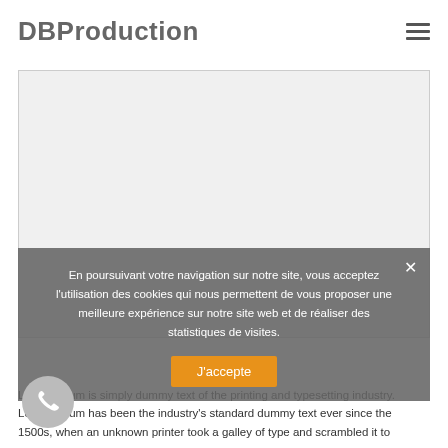DBProduction
[Figure (other): Light gray placeholder image area with border]
En poursuivant votre navigation sur notre site, vous acceptez l'utilisation des cookies qui nous permettent de vous proposer une meilleure expérience sur notre site web et de réaliser des statistiques de visites.
J'accepte
Lorem Ipsum is simply dummy text of the printing and typesetting industry. Lorem Ipsum has been the industry's standard dummy text ever since the 1500s, when an unknown printer took a galley of type and scrambled it to